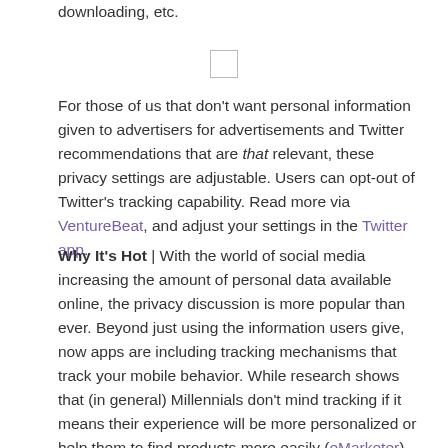downloading, etc.
[Figure (other): Small empty checkbox/placeholder image]
For those of us that don't want personal information given to advertisers for advertisements and Twitter recommendations that are that relevant, these privacy settings are adjustable. Users can opt-out of Twitter's tracking capability. Read more via VentureBeat, and adjust your settings in the Twitter app.
Why It's Hot | With the world of social media increasing the amount of personal data available online, the privacy discussion is more popular than ever. Beyond just using the information users give, now apps are including tracking mechanisms that track your mobile behavior. While research shows that (in general) Millennials don't mind tracking if it means their experience will be more personalized or help them to find products more easily (eMarketer), Millennials are not the only mobile consumers. And so the privacy vs. personalization debate contin...